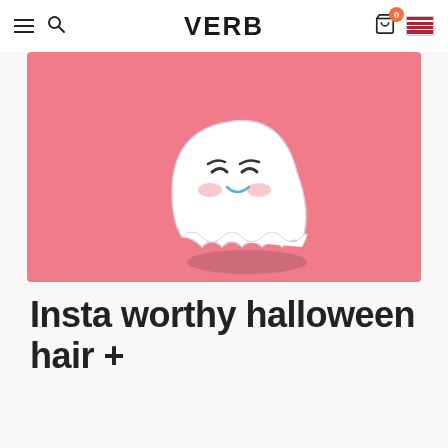VERB
[Figure (illustration): Cute cartoon ghost with a happy smiling face and rosy cheeks, floating above a shadow, set against a pink background]
Insta worthy halloween hair +